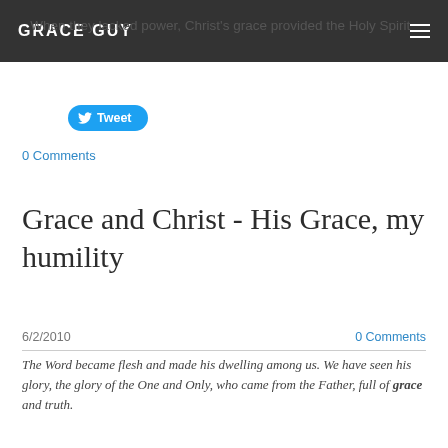GRACE GUY
- When they lacked power, Christ's grace provided the Holy Spirit
[Figure (other): Twitter Tweet button]
0 Comments
Grace and Christ - His Grace, my humility
6/2/2010
0 Comments
The Word became flesh and made his dwelling among us. We have seen his glory, the glory of the One and Only, who came from the Father, full of grace and truth.